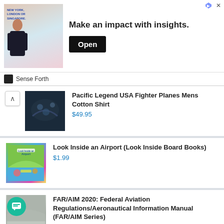[Figure (screenshot): Advertisement banner: image of a man in suit with text 'NEW YORK, LONDON OR SINGAPORE', headline 'Make an impact with insights.' and an 'Open' button]
Sense Forth
Pacific Legend USA Fighter Planes Mens Cotton Shirt $49.95
Look Inside an Airport (Look Inside Board Books) $1.99
FAR/AIM 2020: Federal Aviation Regulations/Aeronautical Information Manual (FAR/AIM Series) $1.46
EuroGraphics History of Aviation Puzzle (1000-Piece) $17.29